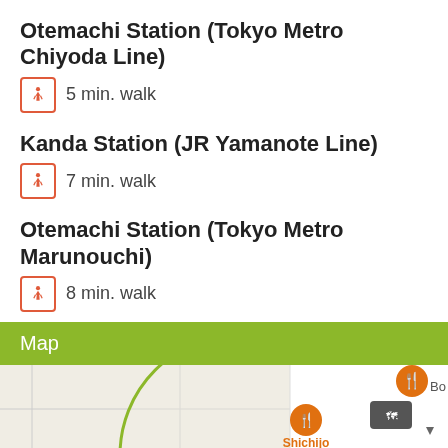Otemachi Station (Tokyo Metro Chiyoda Line)
5 min. walk
Kanda Station (JR Yamanote Line)
7 min. walk
Otemachi Station (Tokyo Metro Marunouchi)
8 min. walk
Map
[Figure (map): Google Maps view showing a circular highlighted area with street grid, with POIs on the right side including Shichijo restaurant, Anytime Fitness, and a reCAPTCHA widget. Privacy and Terms links visible.]